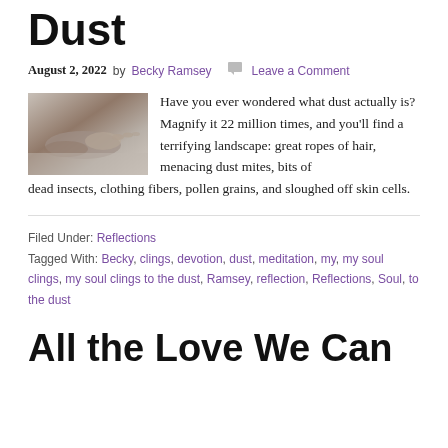Dust
August 2, 2022 by Becky Ramsey  Leave a Comment
[Figure (photo): Black and white photo of a person's arm resting on a dusty surface]
Have you ever wondered what dust actually is? Magnify it 22 million times, and you'll find a terrifying landscape: great ropes of hair, menacing dust mites, bits of dead insects, clothing fibers, pollen grains, and sloughed off skin cells.
Filed Under: Reflections
Tagged With: Becky, clings, devotion, dust, meditation, my, my soul clings, my soul clings to the dust, Ramsey, reflection, Reflections, Soul, to the dust
All the Love We Can